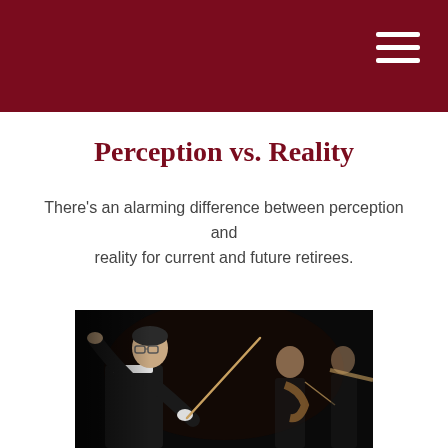Perception vs. Reality
There's an alarming difference between perception and reality for current and future retirees.
[Figure (photo): Orchestra conductor in black suit with baton raised, conducting musicians in background against dark background]